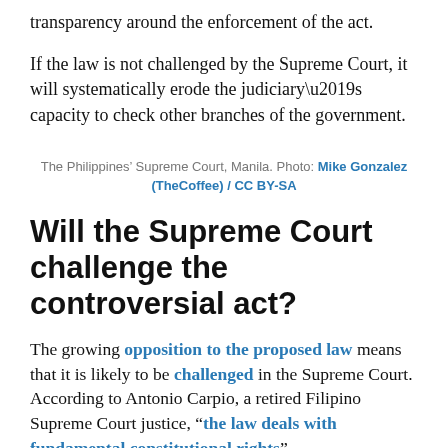transparency around the enforcement of the act.
If the law is not challenged by the Supreme Court, it will systematically erode the judiciary’s capacity to check other branches of the government.
The Philippines’ Supreme Court, Manila. Photo: Mike Gonzalez (TheCoffee) / CC BY-SA
Will the Supreme Court challenge the controversial act?
The growing opposition to the proposed law means that it is likely to be challenged in the Supreme Court. According to Antonio Carpio, a retired Filipino Supreme Court justice, “the law deals with fundamental constitutional rights”